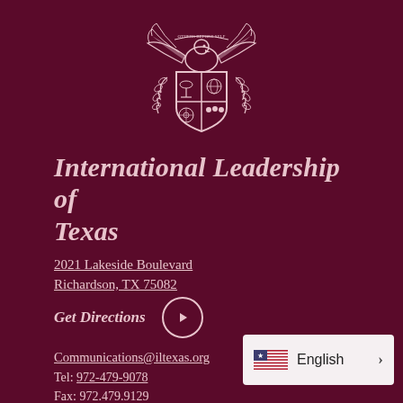[Figure (logo): Institutional crest/coat of arms with eagle on top, shield with four quadrants, laurel branches, motto banner reading 'OTHERS BEFORE SELF']
International Leadership of Texas
2021 Lakeside Boulevard
Richardson, TX 75082
Get Directions
Communications@iltexas.org
Tel: 972-479-9078
Fax: 972.479.9129
English